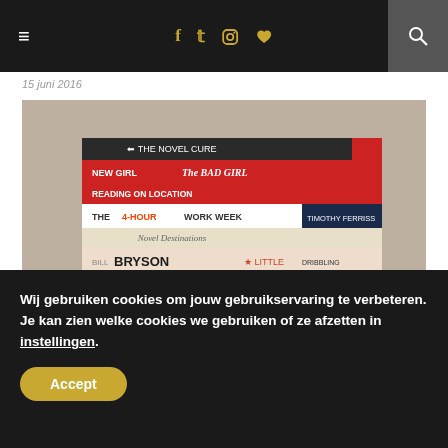≡  f  𝕥  📷  ♥  🔍
15 juni 2016
[Figure (photo): Stack of books photographed from the side showing spines: A Novel Cure, The Bad Girl, Reading on Location, The 4-Hour Work Week, Novel Destinations, Bill Bryson Little Dribbling, Judy Blume In the Unlikely Event, 101 Things I've Kids To Do On A Rainy Day, Paper Made!, and a yellow book at the bottom. Books are stacked on a wooden surface against a stone wall background.]
WATERSTONES PICADILLY… DE
Wij gebruiken cookies om jouw gebruikservaring te verbeteren. Je kan zien welke cookies we gebruiken of ze afzetten in instellingen.
Accept